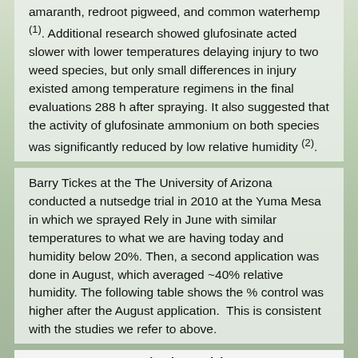amaranth, redroot pigweed, and common waterhemp (1). Additional research showed glufosinate acted slower with lower temperatures delaying injury to two weed species, but only small differences in injury existed among temperature regimens in the final evaluations 288 h after spraying. It also suggested that the activity of glufosinate ammonium on both species was significantly reduced by low relative humidity (2).
Barry Tickes at the The University of Arizona conducted a nutsedge trial in 2010 at the Yuma Mesa in which we sprayed Rely in June with similar temperatures to what we are having today and humidity below 20%. Then, a second application was done in August, which averaged ~40% relative humidity. The following table shows the % control was higher after the August application. This is consistent with the studies we refer to above.
Rely Citrus Trial
Yuma Mesa 2010